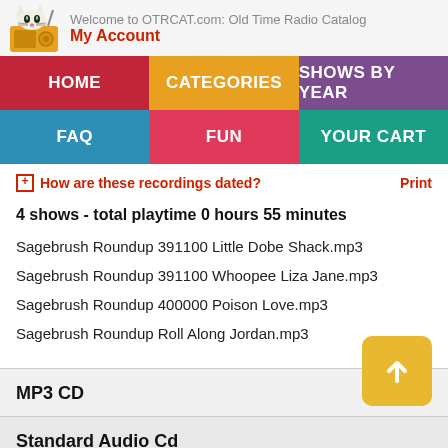Welcome to OTRCAT.com: Old Time Radio Catalog
My Account
HOME
CATEGORIES
SHOWS BY YEAR
FAQ
FUN
YOUR CART
+ How are these recordings dated?    Print
4 shows - total playtime 0 hours 55 minutes
Sagebrush Roundup 391100 Little Dobe Shack.mp3
Sagebrush Roundup 391100 Whoopee Liza Jane.mp3
Sagebrush Roundup 400000 Poison Love.mp3
Sagebrush Roundup Roll Along Jordan.mp3
MP3 CD
Standard Audio Cd